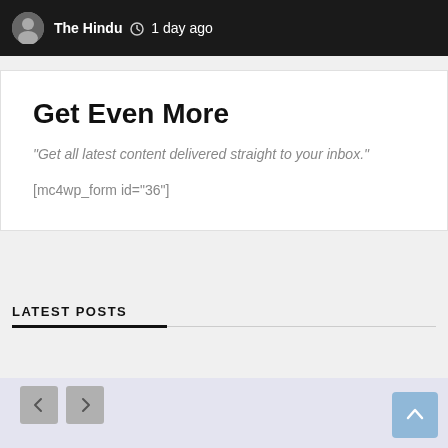The Hindu  1 day ago
Get Even More
"Get all latest content delivered straight to your inbox."
[mc4wp_form id="36"]
LATEST POSTS
[Figure (photo): Photo of a man wearing glasses, speaking into a microphone]